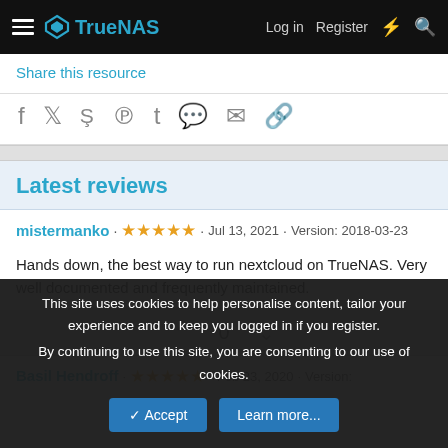TrueNAS · Log in · Register
Share this resource
[Figure (infographic): Social share icons: Facebook, Twitter, Reddit, Pinterest, Tumblr, WhatsApp, Email, Link]
Latest reviews
mistermanko · ★★★★★ · Jul 13, 2021 · Version: 2018-03-23
Hands down, the best way to run nextcloud on TrueNAS. Very well documented and frequently maintained.
0
Basil Hendroff · ★★★★★ · Feb 23, 2020 · Version:
This site uses cookies to help personalise content, tailor your experience and to keep you logged in if you register.
By continuing to use this site, you are consenting to our use of cookies.